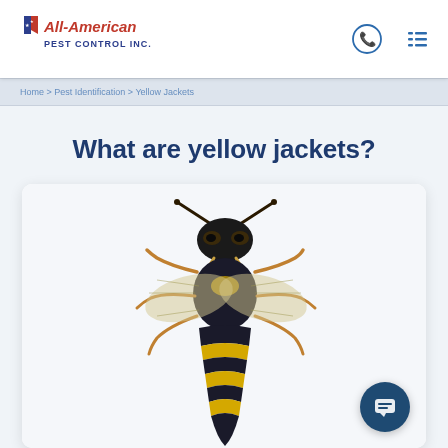All-American Pest Control Inc.
Home > Pest Identification > Yellow Jackets
What are yellow jackets?
[Figure (illustration): Detailed illustration of a yellow jacket wasp viewed from above, showing black and yellow banded abdomen, wings, legs, and antennae]